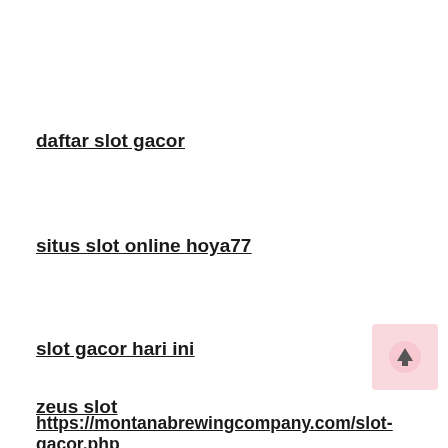daftar slot gacor
situs slot online hoya77
slot gacor hari ini
zeus slot
https://montanabrewingcompany.com/slot-gacor.php